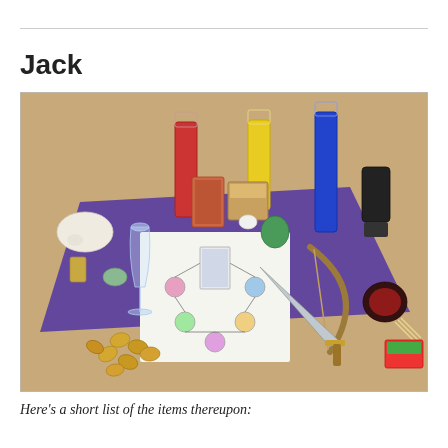Jack
[Figure (photo): A wooden table with a purple satin cloth, on which are arranged various ritual/occult items: three tall candles (red, yellow, blue), a clear champagne flute, a white paper with a diagram and a card, several coins, a ceremonial dagger/athame resting on a wooden bow, a small wooden box, a black figurine on a stand, a red coaster with a unicorn, an animal skull, small figurines, a green egg-shaped stone, a white crystal, a small dark figurine, toothpicks, and a box of matches.]
Here's a short list of the items thereupon: